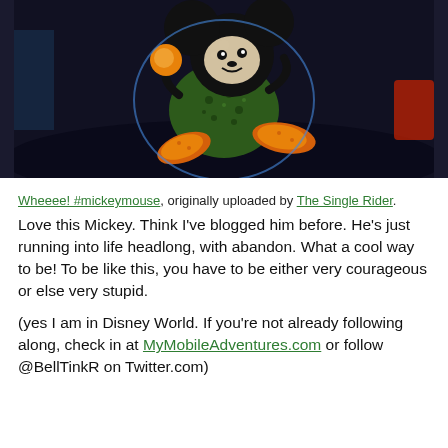[Figure (photo): Close-up photo of a black baseball cap with a colorful Mickey Mouse graphic on it, showing Mickey running. Dark background with bright colors on the figure.]
Wheeee! #mickeymouse, originally uploaded by The Single Rider.
Love this Mickey. Think I've blogged him before. He's just running into life headlong, with abandon. What a cool way to be! To be like this, you have to be either very courageous or else very stupid.
(yes I am in Disney World. If you're not already following along, check in at MyMobileAdventures.com or follow @BellTinkR on Twitter.com)